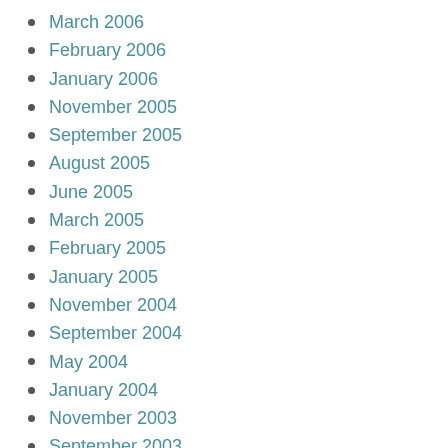March 2006
February 2006
January 2006
November 2005
September 2005
August 2005
June 2005
March 2005
February 2005
January 2005
November 2004
September 2004
May 2004
January 2004
November 2003
September 2003
July 2003
May 1997
January 1997
June 1996